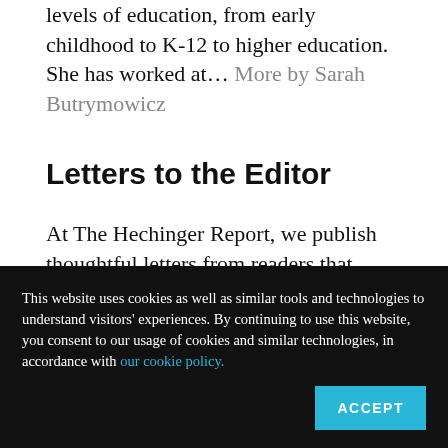levels of education, from early childhood to K-12 to higher education. She has worked at… More by Sarah Butrymowicz
Letters to the Editor
At The Hechinger Report, we publish thoughtful letters from readers that contribute to the ongoing discussion about the education
This website uses cookies as well as similar tools and technologies to understand visitors' experiences. By continuing to use this website, you consent to our usage of cookies and similar technologies, in accordance with our cookie policy.